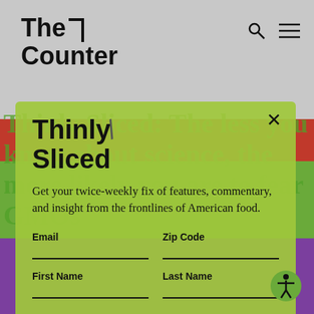The Counter
Thinly Sliced
Get your twice-weekly fix of features, commentary, and insight from the frontlines of American food.
Email
Zip Code
First Name
Last Name